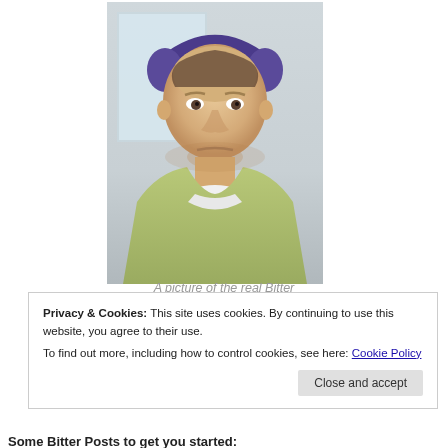[Figure (photo): A selfie photo of a middle-aged bald man with purple headphones, wearing a light green shirt over a white shirt, looking at the camera with a serious expression. Background shows an office/indoor setting with a window.]
A picture of the real Bitter
Privacy & Cookies: This site uses cookies. By continuing to use this website, you agree to their use.
To find out more, including how to control cookies, see here: Cookie Policy
Close and accept
Some Bitter Posts to get you started: